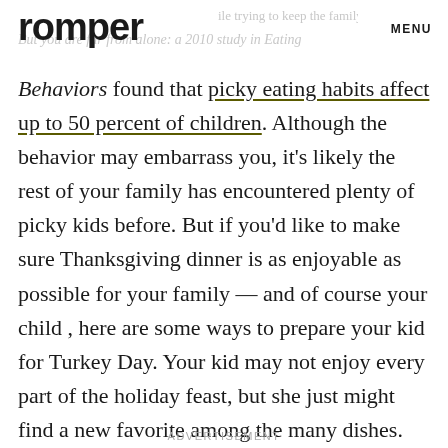romper  MENU
Behaviors found that picky eating habits affect up to 50 percent of children. Although the behavior may embarrass you, it’s likely the rest of your family has encountered plenty of picky kids before. But if you’d like to make sure Thanksgiving dinner is as enjoyable as possible for your family — and of course your child , here are some ways to prepare your kid for Turkey Day. Your kid may not enjoy every part of the holiday feast, but she just might find a new favorite among the many dishes. And if she just has a plate of chicken nuggets instead, well, that’s okay too.
ADVERTISEMENT